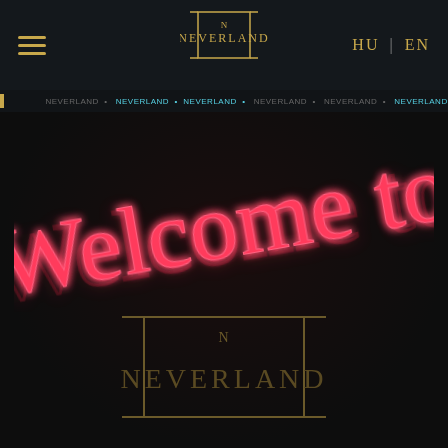[Figure (screenshot): Neverland website screenshot showing dark navigation bar with hamburger menu, centered Neverland logo (gold square bracket frame with NEVERLAND text), and HU | EN language switcher. Below the nav is a ticker strip. The main area shows neon pink cursive 'Welcome to' text glowing against a dark background. At the bottom is the Neverland logo again with gold square frame and dark gold text.]